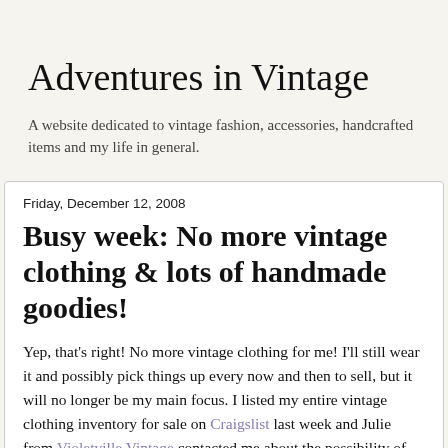Adventures in Vintage
A website dedicated to vintage fashion, accessories, handcrafted items and my life in general.
Friday, December 12, 2008
Busy week: No more vintage clothing & lots of handmade goodies!
Yep, that's right! No more vintage clothing for me! I'll still wear it and possibly pick things up every now and then to sell, but it will no longer be my main focus. I listed my entire vintage clothing inventory for sale on Craigslist last week and Julie from Violetville Vintage contacted me about the possibility of buying the entire lot. Her mother lives just outside of Austin and from what she said from what I can tell, Julie